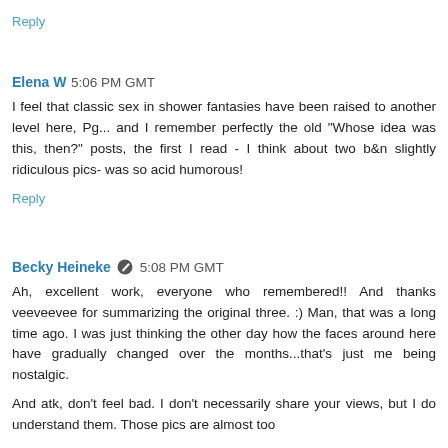Reply
Elena W 5:06 PM GMT
I feel that classic sex in shower fantasies have been raised to another level here, Pg... and I remember perfectly the old "Whose idea was this, then?" posts, the first I read - I think about two b&n slightly ridiculous pics- was so acid humorous!
Reply
Becky Heineke 5:08 PM GMT
Ah, excellent work, everyone who remembered!! And thanks veeveevee for summarizing the original three. :) Man, that was a long time ago. I was just thinking the other day how the faces around here have gradually changed over the months...that's just me being nostalgic.
And atk, don't feel bad. I don't necessarily share your views, but I do understand them. Those pics are almost too